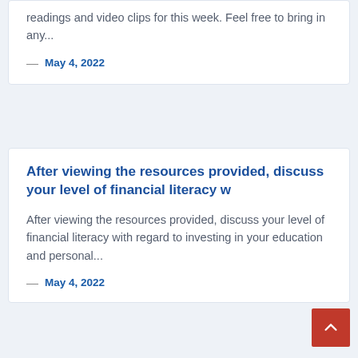readings and video clips for this week. Feel free to bring in any...
— May 4, 2022
After viewing the resources provided, discuss your level of financial literacy w
After viewing the resources provided, discuss your level of financial literacy with regard to investing in your education and personal...
— May 4, 2022